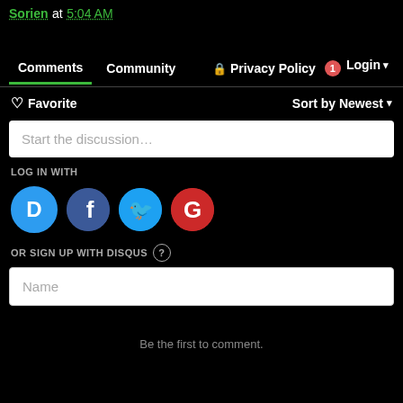Sorien at 5:04 AM
Comments  Community  Privacy Policy  1  Login
Favorite  Sort by Newest
Start the discussion…
LOG IN WITH
[Figure (screenshot): Social login icons: Disqus (D), Facebook (f), Twitter (bird), Google (G)]
OR SIGN UP WITH DISQUS ?
Name
Be the first to comment.